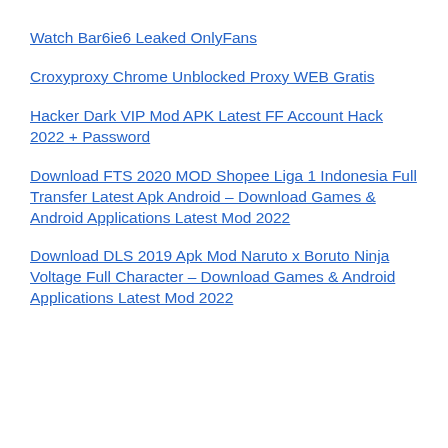Watch Bar6ie6 Leaked OnlyFans
Croxyproxy Chrome Unblocked Proxy WEB Gratis
Hacker Dark VIP Mod APK Latest FF Account Hack 2022 + Password
Download FTS 2020 MOD Shopee Liga 1 Indonesia Full Transfer Latest Apk Android – Download Games & Android Applications Latest Mod 2022
Download DLS 2019 Apk Mod Naruto x Boruto Ninja Voltage Full Character – Download Games & Android Applications Latest Mod 2022